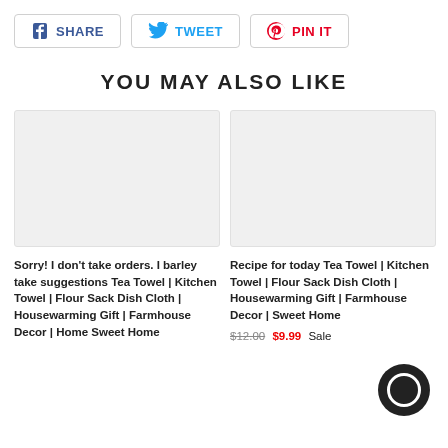[Figure (other): Social share buttons: SHARE (Facebook), TWEET (Twitter), PIN IT (Pinterest)]
YOU MAY ALSO LIKE
[Figure (photo): Product image placeholder (light gray rectangle) for 'Sorry! I don't take orders...' tea towel]
Sorry! I don't take orders. I barley take suggestions Tea Towel | Kitchen Towel | Flour Sack Dish Cloth | Housewarming Gift | Farmhouse Decor | Home Sweet Home
[Figure (photo): Product image placeholder (light gray rectangle) for 'Recipe for today Tea Towel' product]
Recipe for today Tea Towel | Kitchen Towel | Flour Sack Dish Cloth | Housewarming Gift | Farmhouse Decor | Sweet Home
$12.00 $9.99 Sale